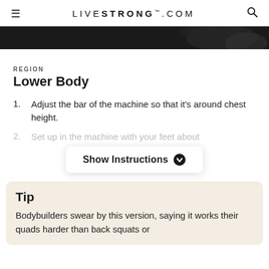LIVESTRONG.COM
[Figure (photo): Dark hero image showing partial view of exercise equipment]
REGION
Lower Body
Adjust the bar of the machine so that it's around chest height.
Set up in the machine with your feet about
Show Instructions
Tip
Bodybuilders swear by this version, saying it works their quads harder than back squats or